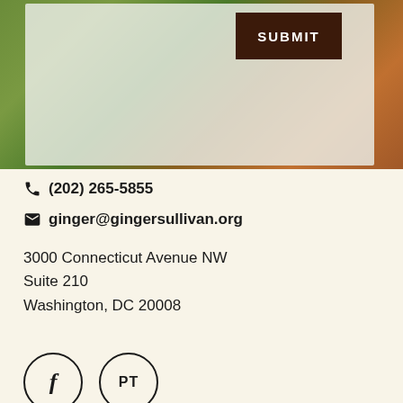[Figure (screenshot): Blurred background image of green foliage and orange bokeh with a semi-transparent form overlay and a dark brown SUBMIT button in the upper right of the form.]
(202) 265-5855
ginger@gingersullivan.org
3000 Connecticut Avenue NW
Suite 210
Washington, DC 20008
[Figure (illustration): Two circular social media icons: a Facebook 'f' icon and a 'PT' icon.]